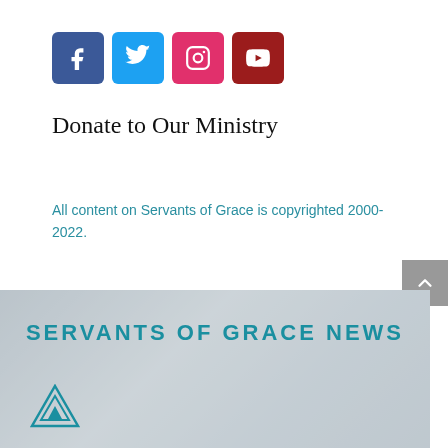[Figure (infographic): Row of four social media icon buttons: Facebook (dark blue), Twitter (light blue), Instagram (pink/red), YouTube (dark red)]
Donate to Our Ministry
All content on Servants of Grace is copyrighted 2000-2022.
[Figure (photo): Servants of Grace News banner image showing two people in conversation in a cafe/lounge setting, with the Servants of Grace logo in the lower left and bold teal text 'SERVANTS OF GRACE NEWS']